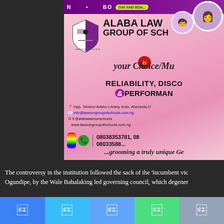[Figure (advertisement): Alaba Lawson Group of Schools advertisement with pink floral background, school logo/shield, school name, tagline 'your Choice/Mu...', 'RELIABILITY, DISC... & PERFORMAN...', contact info including address 'Opp. Simeon Adebo Library, Kuto, Abeokuta, O...', email 'info@lawsongroupofschools.com.ng', social '@alabalawsonschools', website 'www.lawsongroupofschools.com.ng', phone numbers '08038353781, 08...' and '080335888...', tagline '...grooming a truly unique Ge...']
The controversy in the institution followed the sack of the 'incumbent vic... Ogundipe, by the Wale Babalaking led governing council, which degener...
[Figure (infographic): Social media share bar with 5 share buttons: Facebook (blue), Twitter (light blue), another (blue), WhatsApp/green, Telegram/grey]